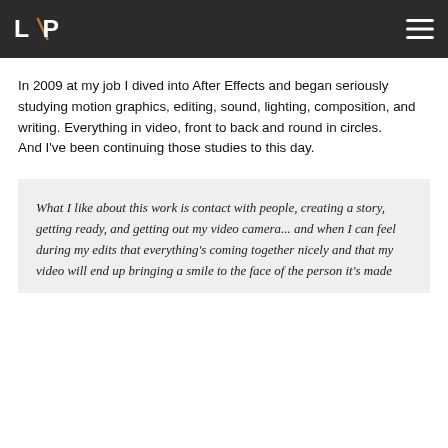L\P
In 2009 at my job I dived into After Effects and began seriously studying motion graphics, editing, sound, lighting, composition, and writing. Everything in video, front to back and round in circles. And I've been continuing those studies to this day.
What I like about this work is contact with people, creating a story, getting ready, and getting out my video camera... and when I can feel during my edits that everything's coming together nicely and that my video will end up bringing a smile to the face of the person it's made